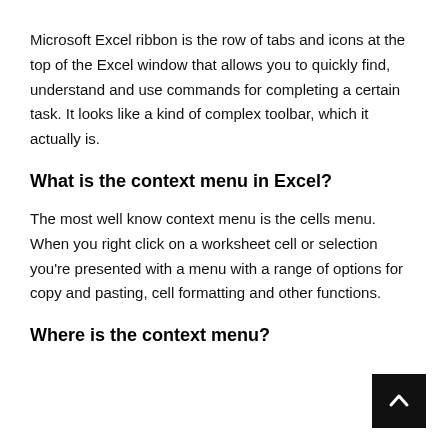Microsoft Excel ribbon is the row of tabs and icons at the top of the Excel window that allows you to quickly find, understand and use commands for completing a certain task. It looks like a kind of complex toolbar, which it actually is.
What is the context menu in Excel?
The most well know context menu is the cells menu. When you right click on a worksheet cell or selection you're presented with a menu with a range of options for copy and pasting, cell formatting and other functions.
Where is the context menu?